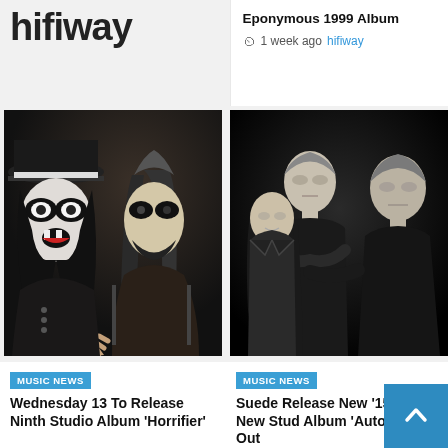hifiway
Eponymous 1999 Album
1 week ago  hifiway
[Figure (photo): Two heavy metal musicians with corpse paint and dark clothing against a dark background]
[Figure (photo): Three musicians in black clothing posed against a black background, black and white photo]
MUSIC NEWS
Wednesday 13 To Release Ninth Studio Album 'Horrifier'
MUSIC NEWS
Suede Release New '15 Again' New Studio Album 'Autofiction' Out